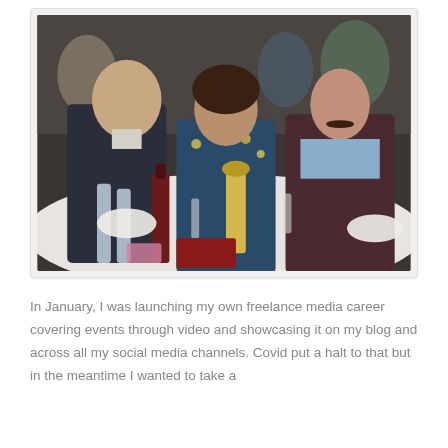[Figure (photo): Three people smiling at a formal dinner event. A man in a suit on the left, a woman in a floral dress in the center, and a young man with a moustache in a dark cardigan on the right. A table in front has wine bottles, water bottles, glasses, and napkins. A crowded event venue is visible in the background.]
In January, I was launching my own freelance media career covering events through video and showcasing it on my blog and across all my social media channels. Covid put a halt to that but in the meantime I wanted to take a